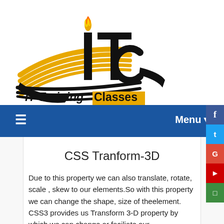[Figure (logo): ITC - IT Training Classes logo with book and torch graphic, black and yellow/gold colors, text 'IT Training Classes' with 'Classes' on yellow background]
≡   Menu ▼
CSS Tranform-3D
Due to this property we can also translate, rotate, scale , skew to our elements.So with this property we can change the shape, size of theelement. CSS3 provides us Transform 3-D property by which we can change or faciliate our